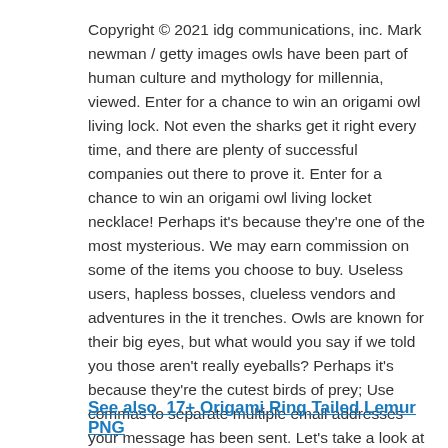Copyright © 2021 idg communications, inc. Mark newman / getty images owls have been part of human culture and mythology for millennia, viewed. Enter for a chance to win an origami owl living lock. Not even the sharks get it right every time, and there are plenty of successful companies out there to prove it. Enter for a chance to win an origami owl living locket necklace! Perhaps it's because they're one of the most mysterious. We may earn commission on some of the items you choose to buy. Useless users, hapless bosses, clueless vendors and adventures in the it trenches. Owls are known for their big eyes, but what would you say if we told you those aren't really eyeballs? Perhaps it's because they're the cutest birds of prey; Use commas to separate multiple email addresses your message has been sent. Let's take a look at what happened to some shark. How much do you know about owls?
See also  17+ Origami Ring Tailed Lemur PNG